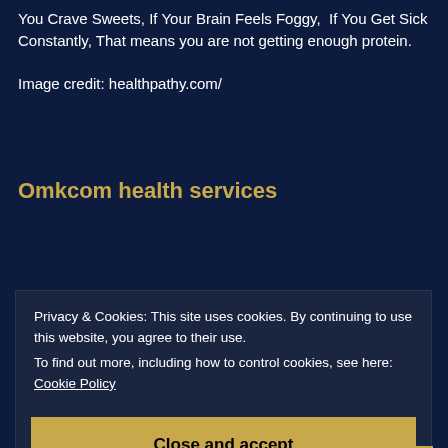You Crave Sweets, If Your Brain Feels Foggy, If You Get Sick Constantly, That means you are not getting enough protein. Image credit: healthpathy.com/
Omkcom health services
Flickr Photos
[Figure (photo): A sunset sky photo with orange and red clouds against a blue sky]
Privacy & Cookies: This site uses cookies. By continuing to use this website, you agree to their use.
To find out more, including how to control cookies, see here: Cookie Policy
Close and accept